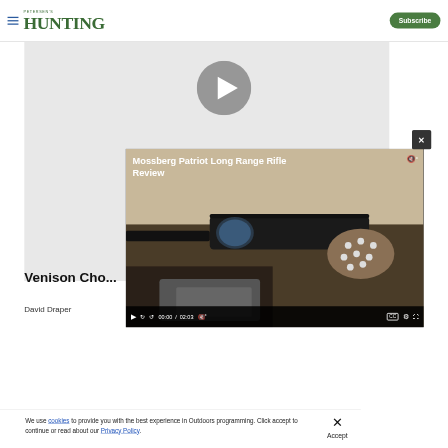PETERSEN'S HUNTING | Subscribe
[Figure (screenshot): Video player showing Mossberg Patriot Long Range Rifle Review with a play button overlay and shooter aiming a rifle with a scope, video controls showing 00:00 / 02:03]
Venison Cho...
David Draper
We use cookies to provide you with the best experience in Outdoors programming. Click accept to continue or read about our Privacy Policy.